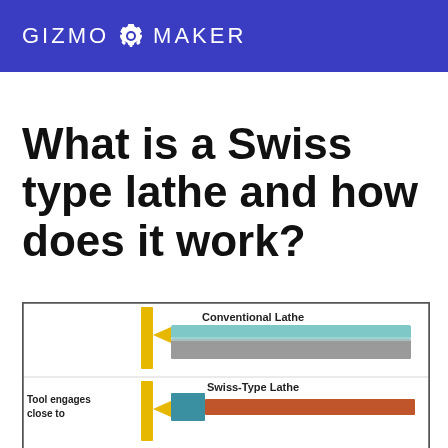GIZMO MAKER
What is a Swiss type lathe and how does it work?
[Figure (engineering-diagram): Comparison diagram of Conventional Lathe vs Swiss-Type Lathe showing tool engagement positions. The conventional lathe shows a yellow tool from the left engaging a workpiece (light blue and gray bars), labeled 'Conventional Lathe'. The Swiss-Type Lathe section below shows a yellow tool engaging close to a guide bushing with orange/brown bar visible, labeled 'Swiss-Type Lathe'. Text annotation reads 'Tool engages close to'.]